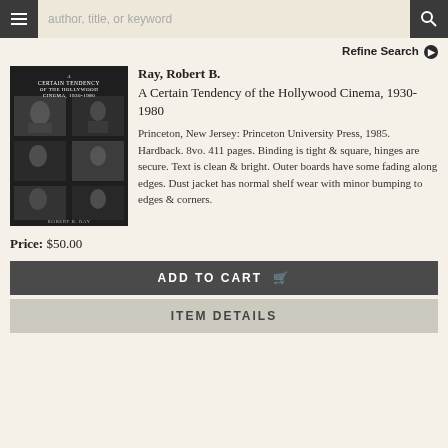author, title, or keyword
Refine Search
[Figure (photo): Book cover of 'A Certain Tendency of the Hollywood Cinema, 1930-1980' by Robert B. Ray, dark cover with black and white film stills]
Ray, Robert B.
A Certain Tendency of the Hollywood Cinema, 1930-1980
Princeton, New Jersey: Princeton University Press, 1985. Hardback. 8vo. 411 pages. Binding is tight & square, hinges are secure. Text is clean & bright. Outer boards have some fading along edges. Dust jacket has normal shelf wear with minor bumping to edges & corners.
Price: $50.00
ADD TO CART
ITEM DETAILS